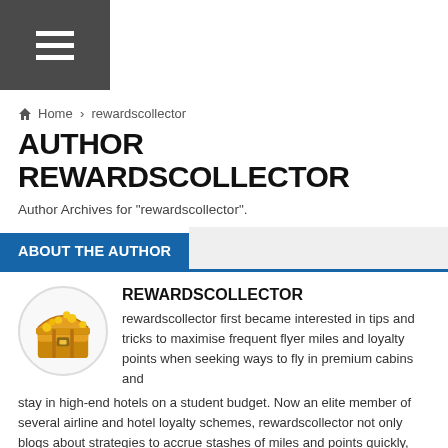[Figure (screenshot): Navigation hamburger menu icon on dark grey background]
Home › rewardscollector
AUTHOR REWARDSCOLLECTOR
Author Archives for "rewardscollector".
ABOUT THE AUTHOR
[Figure (photo): Circular profile image of a treasure chest (gold/yellow) on white background]
REWARDSCOLLECTOR
rewardscollector first became interested in tips and tricks to maximise frequent flyer miles and loyalty points when seeking ways to fly in premium cabins and stay in high-end hotels on a student budget. Now an elite member of several airline and hotel loyalty schemes, rewardscollector not only blogs about strategies to accrue stashes of miles and points quickly, and to maximise their value, but also chronicles some of his travels in